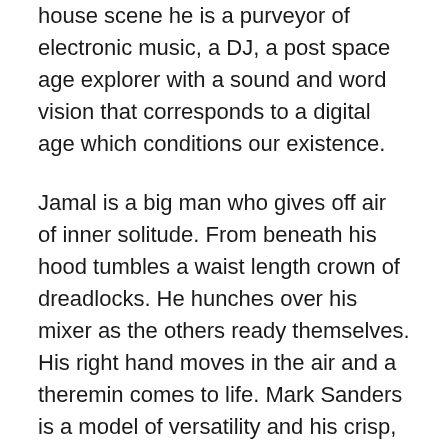house scene he is a purveyor of electronic music, a DJ, a post space age explorer with a sound and word vision that corresponds to a digital age which conditions our existence.
Jamal is a big man who gives off air of inner solitude. From beneath his hood tumbles a waist length crown of dreadlocks. He hunches over his mixer as the others ready themselves. His right hand moves in the air and a theremin comes to life. Mark Sanders is a model of versatility and his crisp, fluid attack on the drums has a lightness of touch that allows Orphy Robinson to play with the settings on his xylosynth as he searches for a middle ground between the trap drums and Jamal's increasingly intense bursts of static noise. As if getting the feel of each other the threesome gather a dexterous and furious momentum only for it to suddenly give way to a fresh